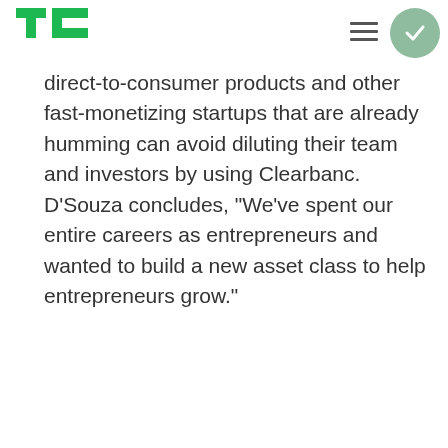TechCrunch logo, navigation menu, checkmark circle
direct-to-consumer products and other fast-monetizing startups that are already humming can avoid diluting their team and investors by using Clearbanc. D'Souza concludes, “We’ve spent our entire careers as entrepreneurs and wanted to build a new asset class to help entrepreneurs grow.”